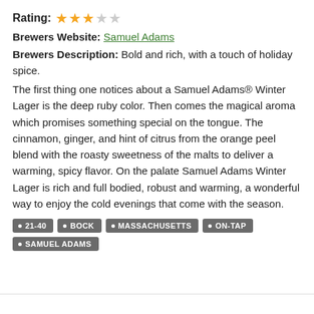Rating: ★★★☆☆
Brewers Website: Samuel Adams
Brewers Description: Bold and rich, with a touch of holiday spice.
The first thing one notices about a Samuel Adams® Winter Lager is the deep ruby color. Then comes the magical aroma which promises something special on the tongue. The cinnamon, ginger, and hint of citrus from the orange peel blend with the roasty sweetness of the malts to deliver a warming, spicy flavor. On the palate Samuel Adams Winter Lager is rich and full bodied, robust and warming, a wonderful way to enjoy the cold evenings that come with the season.
21-40
BOCK
MASSACHUSETTS
ON-TAP
SAMUEL ADAMS